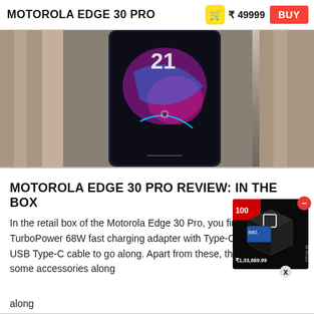MOTOROLA EDGE 30 PRO
₹ 49999
BUY
[Figure (photo): Motorola Edge 30 Pro smartphone standing upright between stone bricks showing colorful UI on screen]
MOTOROLA EDGE 30 PRO REVIEW: IN THE BOX
In the retail box of the Motorola Edge 30 Pro, you find a TurboPower 68W fast charging adapter with Type-C port. There is a USB Type-C cable to go along. Apart from these, there are also some accessories along with the documentation.
[Figure (photo): Advertisement showing a 3D box product with price ₹1,33,689.99]
[Figure (screenshot): Advertisement: Pix4D - Drone maps for crop insurance - DOWNLOAD button]